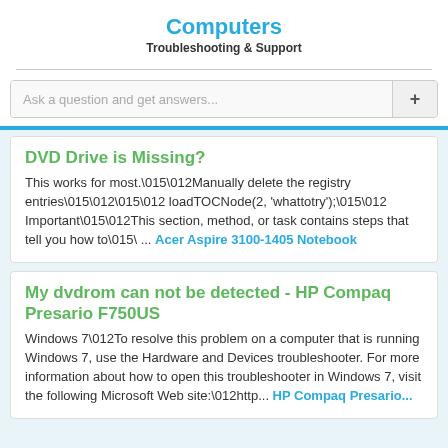Computers
Troubleshooting & Support
Ask a question and get answers...
DVD Drive is Missing?
This works for most.\015\012Manually delete the registry entries\015\012\015\012 loadTOCNode(2, 'whattotry');\015\012 Important\015\012This section, method, or task contains steps that tell you how to\015\ ... Acer Aspire 3100-1405 Notebook
My dvdrom can not be detected - HP Compaq Presario F750US
Windows 7\012To resolve this problem on a computer that is running Windows 7, use the Hardware and Devices troubleshooter. For more information about how to open this troubleshooter in Windows 7, visit the following Microsoft Web site:\012http... HP Compaq Presario...